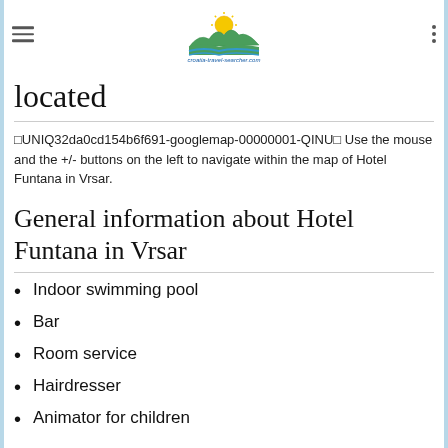croatia-travel-searcher.com logo header with hamburger menu
located
�UNIQ32da0cd154b6f691-googlemap-00000001-QINU� Use the mouse and the +/- buttons on the left to navigate within the map of Hotel Funtana in Vrsar.
General information about Hotel Funtana in Vrsar
Indoor swimming pool
Bar
Room service
Hairdresser
Animator for children